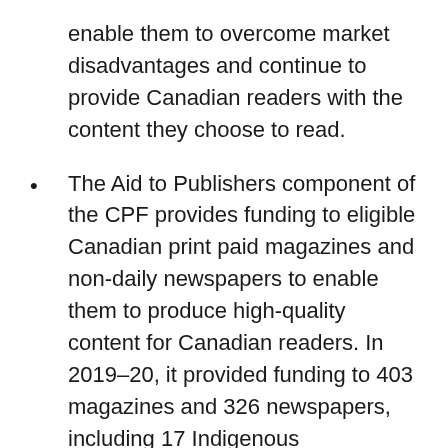enable them to overcome market disadvantages and continue to provide Canadian readers with the content they choose to read.
The Aid to Publishers component of the CPF provides funding to eligible Canadian print paid magazines and non-daily newspapers to enable them to produce high-quality content for Canadian readers. In 2019–20, it provided funding to 403 magazines and 326 newspapers, including 17 Indigenous publications,